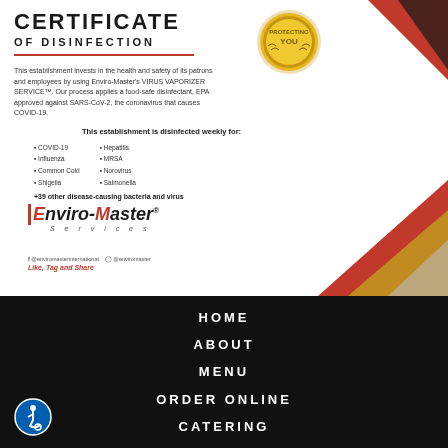CERTIFICATE OF DISINFECTION
This establishment invests in the health and safety of its patrons and employees by using Enviro-Master's VIRUS VAPORIZER SERVICE™. Our process applies a food-safe disinfectant, EPA approved against SARS-CoV-2, the coronavirus that causes COVID-19.
This establishment is disinfected weekly for:
COVID-19
Influenza
Common Cold
Shigella
Hepatitis
MRSA
Norovirus
Salmonella
+39 other disease-causing bacteria and virus
[Figure (logo): Enviro-Master Services logo with red E initial and italic text]
@enviromasterinternational  @enviromaster
Like, Tag and Share
[Figure (illustration): Gold 'Protecting You' seal badge with laurel wreath]
[Figure (illustration): Decorative red, gold, and black diagonal stripes on right side of certificate]
HOME
ABOUT
MENU
ORDER ONLINE
CATERING